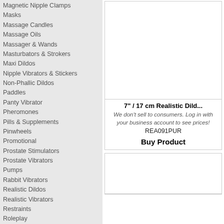Magnetic Nipple Clamps
Masks
Massage Candles
Massage Oils
Massager & Wands
Masturbators & Strokers
Maxi Dildos
Nipple Vibrators & Stickers
Non-Phallic Dildos
Paddles
Panty Vibrator
Pheromones
Pills & Supplements
Pinwheels
Promotional
Prostate Stimulators
Prostate Vibrators
Pumps
Rabbit Vibrators
Realistic Dildos
Realistic Vibrators
Restraints
Roleplay
Ropes
S-Line - Phrases
S-Line Secret Santa
Secret Santa
Sex Machines
Shots Toys New
Silicone Dildos
Silicone Vibrators
Sleeves
Socks
Stimulating Lotions and Gel
Stimulation Glove
Strap On Dildos
Strap On Vibrators
[Figure (photo): Product image placeholder for 7 inch 17 cm Realistic Dildo]
7" / 17 cm Realistic Dild...
We don't sell to consumers. Log in with your business account to see prices!
REA091PUR
Buy Product
[Figure (photo): Second product image placeholder]